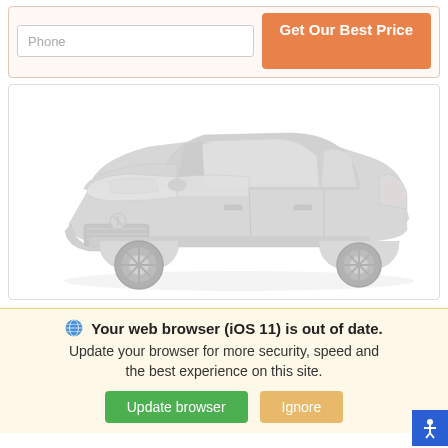Phone
Get Our Best Price
[Figure (photo): A gray Nissan Sentra sedan shown from a front three-quarter angle on a white background, rendered in a faded/washed-out gray tone.]
Your web browser (iOS 11) is out of date. Update your browser for more security, speed and the best experience on this site.
Update browser
Ignore